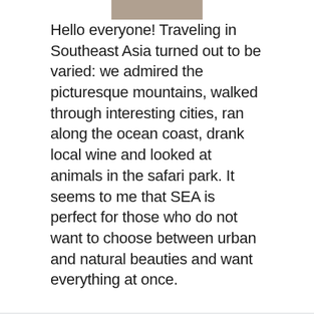[Figure (photo): Partial photo of a person at the top center of the page]
Hello everyone! Traveling in Southeast Asia turned out to be varied: we admired the picturesque mountains, walked through interesting cities, ran along the ocean coast, drank local wine and looked at animals in the safari park. It seems to me that SEA is perfect for those who do not want to choose between urban and natural beauties and want everything at once.
About us
Contact
Privacy Policy & Cookies